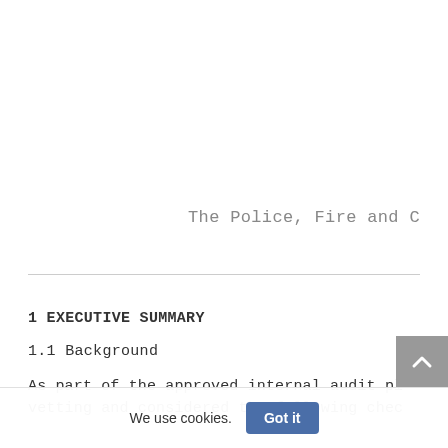The Police, Fire and C
1 EXECUTIVE SUMMARY
1.1 Background
As part of the approved internal audit pl vetting and considered the following chec